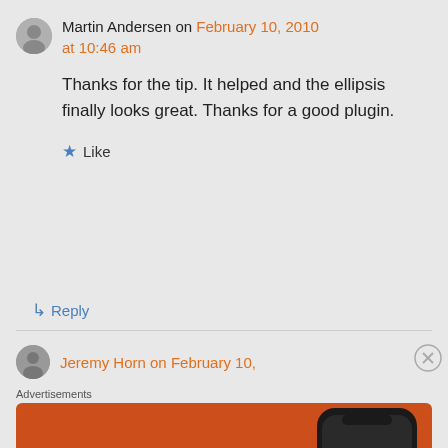Martin Andersen on February 10, 2010 at 10:46 am
Thanks for the tip. It helped and the ellipsis finally looks great. Thanks for a good plugin.
★ Like
↳ Reply
Jeremy Horn on February 10,
Advertisements
[Figure (screenshot): DuckDuckGo advertisement banner with orange background showing 'Search, browse, and email with more privacy. All in One Free App' with a phone mockup and DuckDuckGo logo]